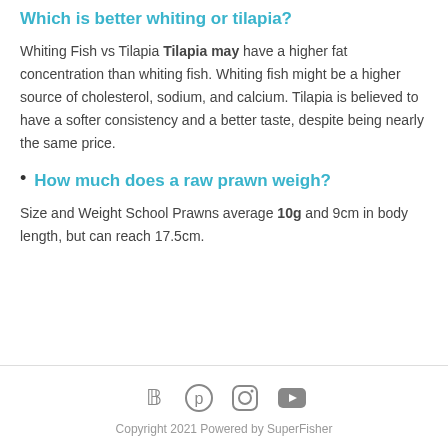Which is better whiting or tilapia?
Whiting Fish vs Tilapia Tilapia may have a higher fat concentration than whiting fish. Whiting fish might be a higher source of cholesterol, sodium, and calcium. Tilapia is believed to have a softer consistency and a better taste, despite being nearly the same price.
How much does a raw prawn weigh?
Size and Weight School Prawns average 10g and 9cm in body length, but can reach 17.5cm.
Copyright 2021 Powered by SuperFisher